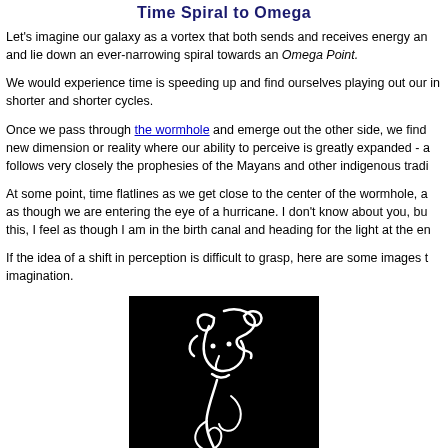Time Spiral to Omega
Let's imagine our galaxy as a vortex that both sends and receives energy and lie down an ever-narrowing spiral towards an Omega Point.
We would experience time is speeding up and find ourselves playing out our in shorter and shorter cycles.
Once we pass through the wormhole and emerge out the other side, we find new dimension or reality where our ability to perceive is greatly expanded - a follows very closely the prophesies of the Mayans and other indigenous tradi
At some point, time flatlines as we get close to the center of the wormhole, a as though we are entering the eye of a hurricane. I don't know about you, bu this, I feel as though I am in the birth canal and heading for the light at the en
If the idea of a shift in perception is difficult to grasp, here are some images t imagination.
[Figure (illustration): White line drawing of a face/figure on a black background]